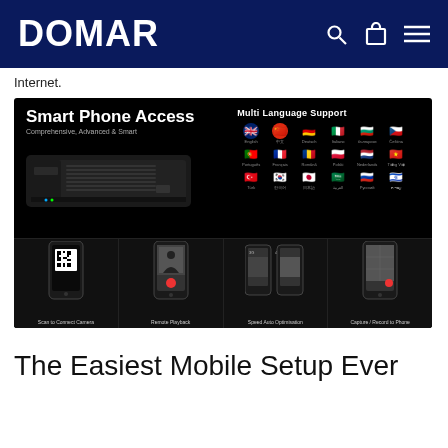DOMAR
Internet.
[Figure (screenshot): Promotional banner for a CCTV/NVR device showing Smart Phone Access with Multi Language Support. Features a DVR device image on the left, and a flag grid for 18 languages on the right. Bottom row shows 4 phone screens: Scan to Connect Camera, Remote Playback, Speed Auto Optimisation, Capture / Record to Phone.]
The Easiest Mobile Setup Ever